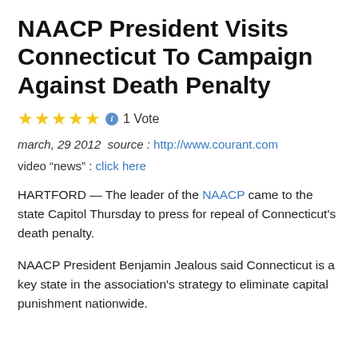NAACP President Visits Connecticut To Campaign Against Death Penalty
★★★★★ ℹ 1 Vote
march, 29 2012  source : http://www.courant.com
video "news" : click here
HARTFORD — The leader of the NAACP came to the state Capitol Thursday to press for repeal of Connecticut's death penalty.
NAACP President Benjamin Jealous said Connecticut is a key state in the association's strategy to eliminate capital punishment nationwide.